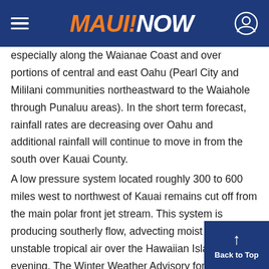MAUI NOW
especially along the Waianae Coast and over portions of central and east Oahu (Pearl City and Mililani communities northeastward to the Waiahole through Punaluu areas). In the short term forecast, rainfall rates are decreasing over Oahu and additional rainfall will continue to move in from the south over Kauai County.
A low pressure system located roughly 300 to 600 miles west to northwest of Kauai remains cut off from the main polar front jet stream. This system is producing southerly flow, advecting moist and unstable tropical air over the Hawaiian Islands evening. The Winter Weather Advisory for snow